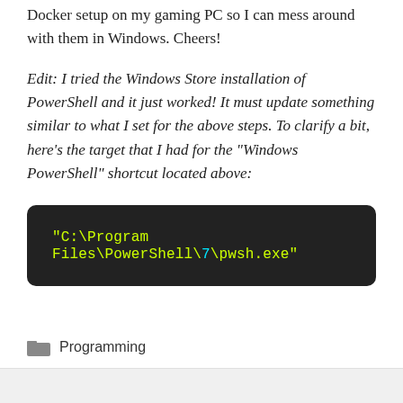Docker setup on my gaming PC so I can mess around with them in Windows. Cheers!
Edit: I tried the Windows Store installation of PowerShell and it just worked! It must update something similar to what I set for the above steps. To clarify a bit, here’s the target that I had for the “Windows PowerShell” shortcut located above:
[Figure (screenshot): Dark terminal code block showing: "C:\Program Files\PowerShell\7\pwsh.exe"]
Programming